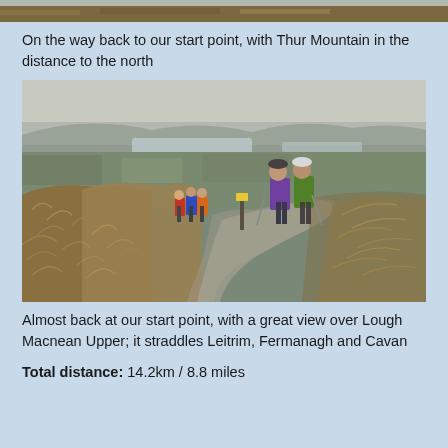[Figure (photo): Top strip of a landscape photograph showing moorland/mountain terrain in muted brown and tan tones]
On the way back to our start point, with Thur Mountain in the distance to the north
[Figure (photo): Group of hikers walking along a gravel path on a hillside moorland with golden brown grass. The hikers carry backpacks in red, blue, orange, purple and green. A yellow waymarker post is visible. In the background is a wide panoramic view of a lough (lake) surrounded by green fields under a hazy overcast sky. The landscape stretches to distant mountains on the horizon.]
Almost back at our start point, with a great view over Lough Macnean Upper; it straddles Leitrim, Fermanagh and Cavan
Total distance: 14.2km / 8.8 miles